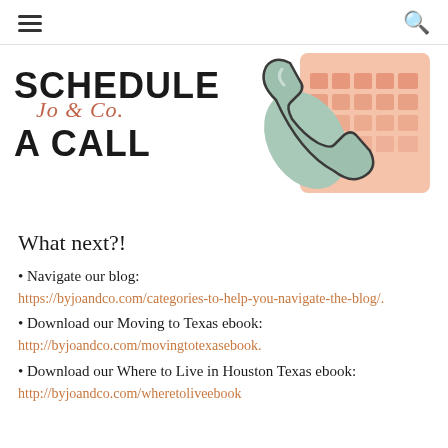≡  🔍
[Figure (illustration): Decorative banner with bold text 'SCHEDULE A CALL' overlaid with a cursive 'Jo & Co.' logo, alongside a cartoon phone and calendar graphic in muted peach and sage green tones.]
What next?!
Navigate our blog:
https://byjoandco.com/categories-to-help-you-navigate-the-blog/.
Download our Moving to Texas ebook:
http://byjoandco.com/movingtotexasebook.
Download our Where to Live in Houston Texas ebook:
http://byjoandco.com/wheretoliveebook